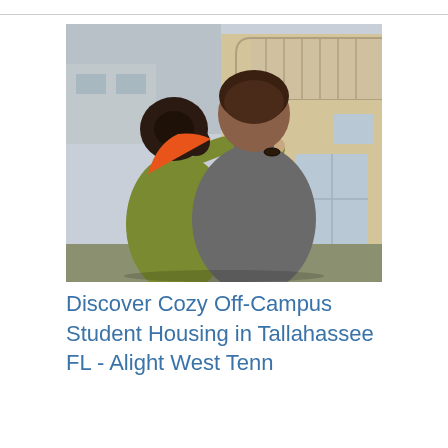[Figure (photo): A couple seen from behind, embracing each other while looking at a multi-story apartment building. The woman on the left wears an olive/yellow-green jacket and has dark hair in a bun; the man on the right wears a grey shirt. The building in the background is beige/cream colored with balconies and large windows.]
Discover Cozy Off-Campus Student Housing in Tallahassee FL - Alight West Tenn